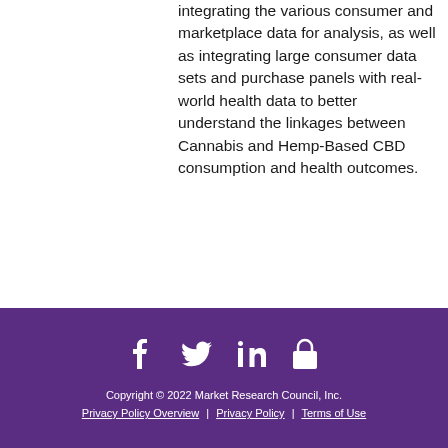integrating the various consumer and marketplace data for analysis, as well as integrating large consumer data sets and purchase panels with real-world health data to better understand the linkages between Cannabis and Hemp-Based CBD consumption and health outcomes.
[Figure (other): Social media icons: Facebook, Twitter, LinkedIn, and a lock/security icon, displayed in white on a purple background footer]
Copyright © 2022 Market Research Council, Inc.
Privacy Policy Overview | Privacy Policy | Terms of Use